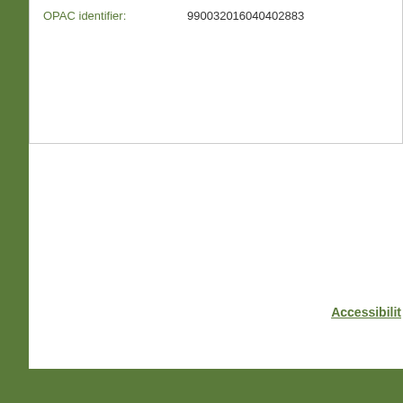| OPAC identifier: | 990032016040402883 |
Accessibility